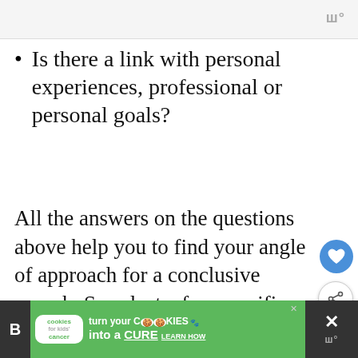Is there a link with personal experiences, professional or personal goals?
All the answers on the questions above help you to find your angle of approach for a conclusive speech. So select a few specific angles. Those can serve as the basic main p…
[Figure (screenshot): Advertisement banner: 'cookies for kids cancer – turn your COOKIES into a CURE LEARN HOW']